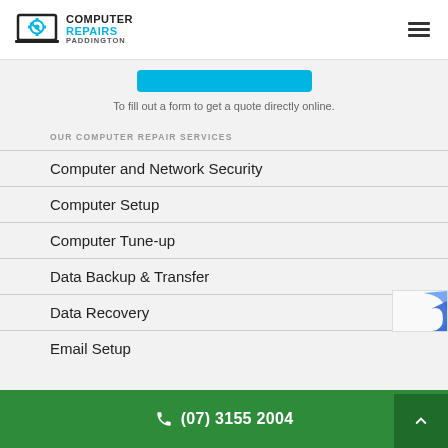Computer Repairs Paddington
To fill out a form to get a quote directly online.
OUR COMPUTER REPAIR SERVICES
Computer and Network Security
Computer Setup
Computer Tune-up
Data Backup & Transfer
Data Recovery
Email Setup
(07) 3155 2004